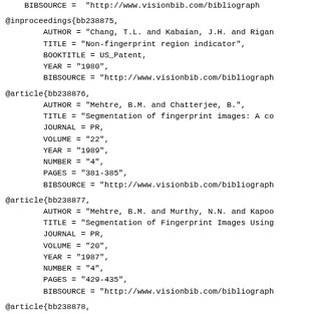BIBSOURCE = "http://www.visionbib.com/bibliograph
@inproceedings{bb238875,
        AUTHOR = "Chang, T.L. and Kabaian, J.H. and Rigan
        TITLE = "Non-fingerprint region indicator",
        BOOKTITLE = US_Patent,
        YEAR = "1980",
        BIBSOURCE = "http://www.visionbib.com/bibliograph
@article{bb238876,
        AUTHOR = "Mehtre, B.M. and Chatterjee, B.",
        TITLE = "Segmentation of fingerprint images: A co
        JOURNAL = PR,
        VOLUME = "22",
        YEAR = "1989",
        NUMBER = "4",
        PAGES = "381-385",
        BIBSOURCE = "http://www.visionbib.com/bibliograph
@article{bb238877,
        AUTHOR = "Mehtre, B.M. and Murthy, N.N. and Kapoo
        TITLE = "Segmentation of Fingerprint Images Using
        JOURNAL = PR,
        VOLUME = "20",
        YEAR = "1987",
        NUMBER = "4",
        PAGES = "429-435",
        BIBSOURCE = "http://www.visionbib.com/bibliograph
@article{bb238878,
        AUTHOR = "Mehtre, B.M."